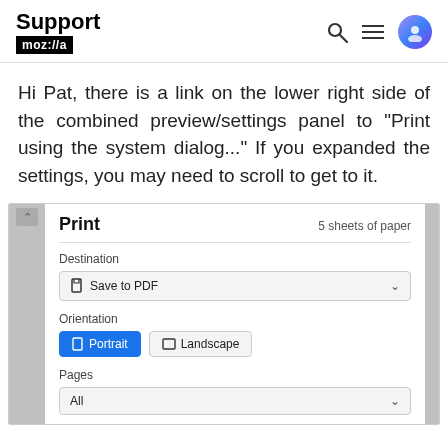Support mozilla// [with search, menu, and avatar icons]
Hi Pat, there is a link on the lower right side of the combined preview/settings panel to "Print using the system dialog..." If you expanded the settings, you may need to scroll to get to it.
[Figure (screenshot): Screenshot of Firefox print dialog showing Print header with '5 sheets of paper', Destination set to 'Save to PDF', Orientation with Portrait selected (blue button) and Landscape option, and Pages set to All.]